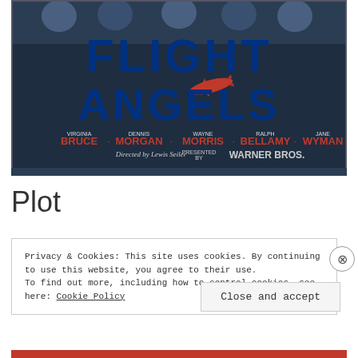[Figure (illustration): Movie poster for 'Flight Angels' (1940) featuring large stylized text 'FLIGHT ANGELS', a red airplane, cast names Virginia Bruce, Dennis Morgan, Wayne Morris, Ralph Bellamy, Jane Wyman, directed by Lewis Seiler, presented by Warner Bros.]
Plot
Privacy & Cookies: This site uses cookies. By continuing to use this website, you agree to their use.
To find out more, including how to control cookies, see here: Cookie Policy
Close and accept